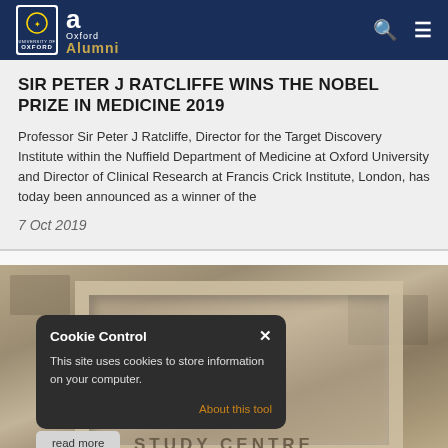University of Oxford Alumni — navigation header with search and menu icons
SIR PETER J RATCLIFFE WINS THE NOBEL PRIZE IN MEDICINE 2019
Professor Sir Peter J Ratcliffe, Director for the Target Discovery Institute within the Nuffield Department of Medicine at Oxford University and Director of Clinical Research at Francis Crick Institute, London, has today been announced as a winner of the
7 Oct 2019
[Figure (photo): Stone building sign reading STUDY CENTRE, partially visible, with a cookie control dialog overlay]
Cookie Control
This site uses cookies to store information on your computer.
About this tool
read more